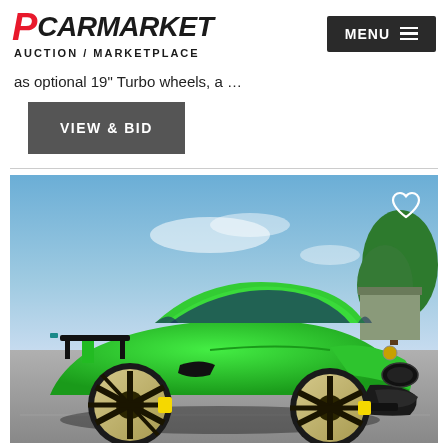PCARMARKET AUCTION / MARKETPLACE
as optional 19" Turbo wheels, a …
VIEW & BID
[Figure (photo): Green Porsche 911 GT3 sports car with gold wheels and yellow brake calipers, photographed in a parking lot under a blue sky with trees in the background. A heart/favorite icon appears in the upper right of the image.]